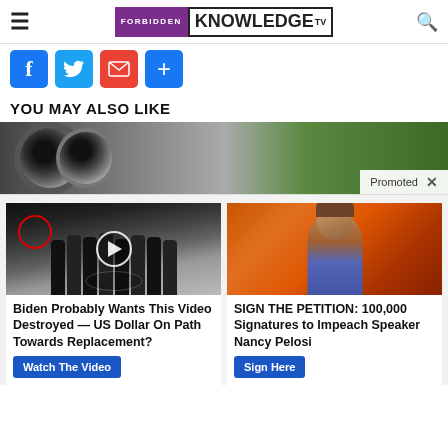Forbidden Knowledge TV
[Figure (screenshot): Social sharing buttons: Facebook, Twitter, Email, Share]
YOU MAY ALSO LIKE
[Figure (photo): Promoted image showing a ball bearing close-up with greenery in background. Badge reads 'Promoted X']
[Figure (photo): Article thumbnail: group photo at CIA with person circled in red, play button overlay]
Biden Probably Wants This Video Destroyed — US Dollar On Path Towards Replacement?
[Figure (photo): Article thumbnail: woman (Nancy Pelosi) against orange background]
SIGN THE PETITION: 100,000 Signatures to Impeach Speaker Nancy Pelosi